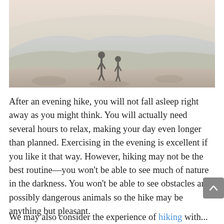[Figure (photo): Two people (an adult and a child) standing on a rocky hilltop, looking out over a misty mountain landscape. The photo has a light, hazy, washed-out tone with warm tones in the foreground and cool blue-grey mountains in the background.]
After an evening hike, you will not fall asleep right away as you might think. You will actually need several hours to relax, making your day even longer than planned. Exercising in the evening is excellent if you like it that way. However, hiking may not be the best routine—you won't be able to see much of nature in the darkness. You won't be able to see obstacles and possibly dangerous animals so the hike may be anything but pleasant.
We may also consider the experience of hiking with...